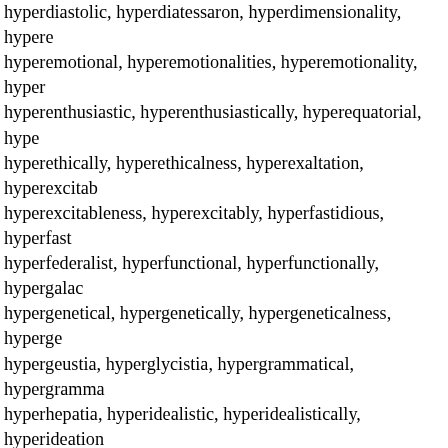hyperdiastolic, hyperdiatessaron, hyperdimensionality, hypere hyperemotional, hyperemotionalities, hyperemotionality, hyper hyperenthusiastic, hyperenthusiastically, hyperequatorial, hype hyperethically, hyperethicalness, hyperexaltation, hyperexcitab hyperexcitableness, hyperexcitably, hyperfastidious, hyperfast hyperfederalist, hyperfunctional, hyperfunctionally, hypergalac hypergenetical, hypergenetically, hypergeneticalness, hyperge hypergeustia, hyperglycistia, hypergrammatical, hypergrmma hyperhepatia, hyperidealistic, hyperidealistically, hyperideation hyperinflated, hyperinflation, hyperinflationary, hyperinflations, hyperinsulinization, hyperintellectual, hyperintellectually, hyper hyperirritability, hyperirritable, hyperkatabolism, hyperkeratose hyperlactation, hyperlethal, hyperlethargy, hyperlithuria, hyperl hypermart, hypermarts, hypermedication, hypermetabolic, hyp hypermetamorphic, hypermetamorphism, hypermetamorphose hypermetamorphotic, hypermetaphoric, hypermetaphorical, hy hypermetrical, hypermetropia, hypermetropias, hypermetropic hypermutable, hypermyotonia, hypermystical, hypermystically, hypernatraemia, hypernatraemias, hypernatremia, hypernatron hypernaturalness, hypernormality, hyperoartian, hyperorthogna hyperorthognathy, hyperotretan, hyperoxidation, hyperoxygena hyperoxymuriate, hyperoxymuriatic, hyperparasite, hyperpara hyperparasitisms, hyperparasitize, hyperparathyroidism, hyper hyperpathetical, hyperpathetically, hyperpathia, hyperpathic, h hyperpatriotism, hyperperistalsis, hyperperistaltic, hyperphosph hyperpigmentations, hyperpituitarism, hyperpituitarisms, hypern